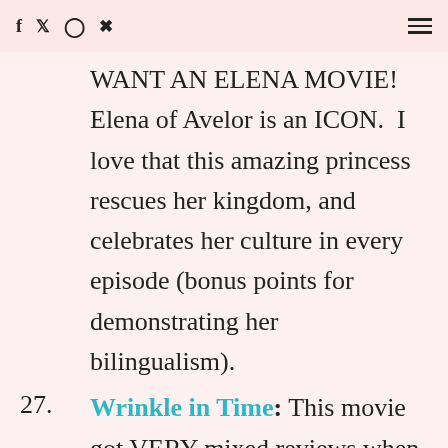f  twitter  instagram  pinterest  [hamburger menu]
WANT AN ELENA MOVIE!  Elena of Avelor is an ICON.  I love that this amazing princess rescues her kingdom, and celebrates her culture in every episode (bonus points for demonstrating her bilingualism).
27. Wrinkle in Time: This movie got VERY mixed reviews when it released.  But one of my favorite parts? Meg Murray.  A teenage girl who works to rescue her father? Now